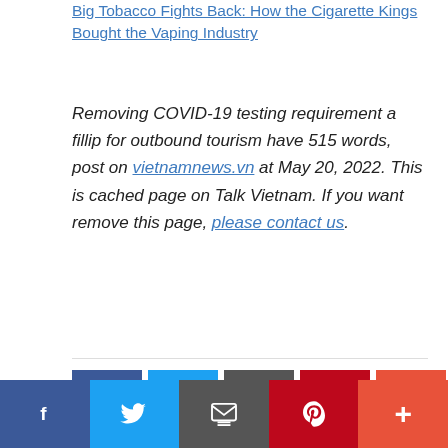Big Tobacco Fights Back: How the Cigarette Kings Bought the Vaping Industry
Removing COVID-19 testing requirement a fillip for outbound tourism have 515 words, post on vietnamnews.vn at May 20, 2022. This is cached page on Talk Vietnam. If you want remove this page, please contact us.
[Figure (infographic): Social share buttons: Facebook (blue), Twitter (light blue), Email/print (dark gray), Pinterest (dark red), More (orange-red)]
Filed Under: Viet Nam News
Vietnam News, Politics, Business, Economy, Society, Life, Sports, Environment, Your Say, English Through the News, Magazine, vietnam war, current news, ....,
[Figure (infographic): Bottom sticky share bar: Facebook, Twitter, Email, Pinterest, More]